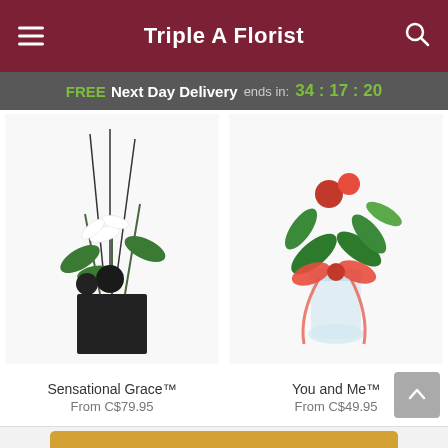Triple A Florist
FREE Next Day Delivery ends in: 34 : 17 : 20
[Figure (photo): Flower arrangement: Sensational Grace - white lilies and dark spherical flowers in a black square vase]
Sensational Grace™
From C$79.95
[Figure (photo): Flower arrangement: You and Me - green tropical leaves and red roses with a red ribbon bow in a clear glass vase]
You and Me™
From C$49.95
Start Order